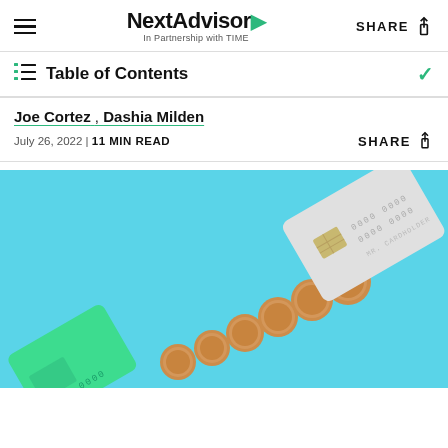NextAdvisor In Partnership with TIME
Table of Contents
Joe Cortez , Dashia Milden
July 26, 2022 | 11 MIN READ
[Figure (photo): Light blue background with several copper pennies arranged diagonally from lower left to upper right, a green credit card in the lower left corner, and a gray/silver credit card in the upper right corner]